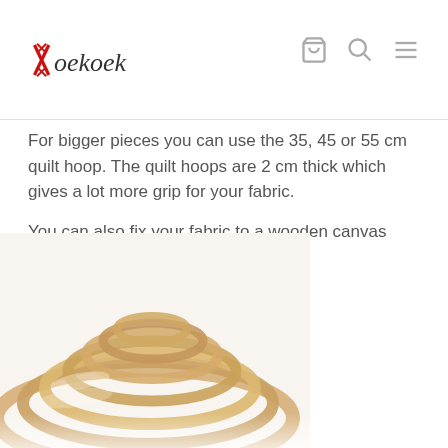Koekoek
For bigger pieces you can use the 35, 45 or 55 cm quilt hoop. The quilt hoops are 2 cm thick which gives a lot more grip for your fabric.
You can also fix your fabric to a wooden canvas frame using a staple gun.
[Figure (photo): Multiple wooden embroidery/quilt hoops of different sizes stacked and arranged together, photographed on a white background.]